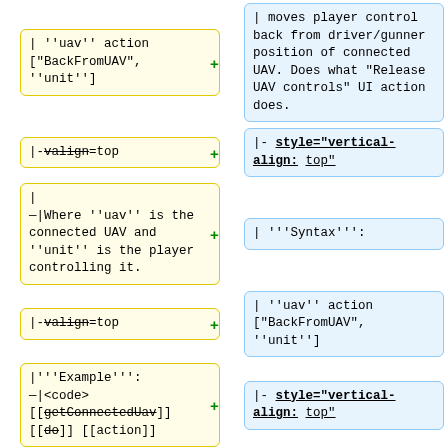Row 1 left (yellow, minus): | ''uav'' action ["BackFromUAV", ''unit'']
Row 1 right (blue, plus): | moves player control back from driver/gunner position of connected UAV. Does what "Release UAV controls" UI action does.
Row 2 left (yellow, minus): |-valign=top
Row 2 right (blue, plus): |- style="vertical-align: top"
Row 3 left (yellow, minus): | Where ''uav'' is the connected UAV and ''unit'' is the player controlling it.
Row 3 right (blue, plus): | '''Syntax''':
Row 4 left (yellow, minus): |-valign=top
Row 4 right (blue, plus): | ''uav'' action ["BackFromUAV", ''unit'']
Row 5 left (yellow, minus): |'''Example''': |<code> [[getConnectedUav]] [[doSomething]]
Row 5 right (blue, plus): |- style="vertical-align: top"